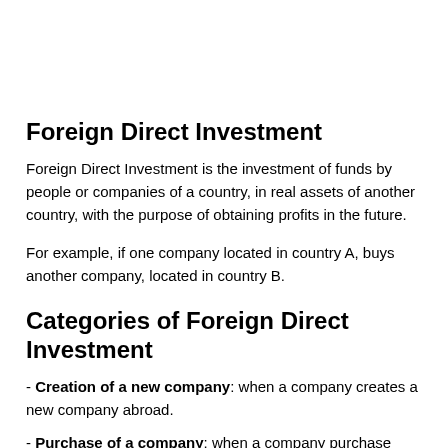Foreign Direct Investment
Foreign Direct Investment is the investment of funds by people or companies of a country, in real assets of another country, with the purpose of obtaining profits in the future.
For example, if one company located in country A, buys another company, located in country B.
Categories of Foreign Direct Investment
- Creation of a new company: when a company creates a new company abroad.
- Purchase of a company: when a company purchase another